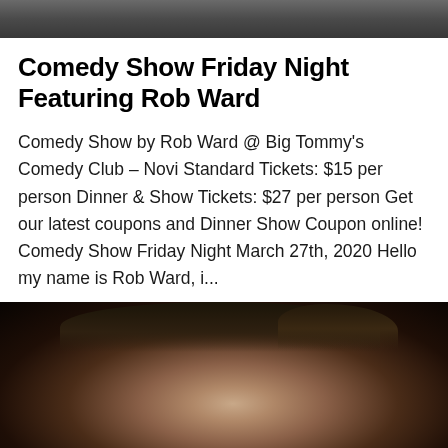[Figure (photo): Top portion of a dark background photo, cropped at top of page]
Comedy Show Friday Night Featuring Rob Ward
Comedy Show by Rob Ward @ Big Tommy's Comedy Club – Novi Standard Tickets: $15 per person Dinner & Show Tickets: $27 per person Get our latest coupons and Dinner Show Coupon online! Comedy Show Friday Night March 27th, 2020 Hello my name is Rob Ward, i...
[Figure (photo): Close-up photo of a man (Rob Ward) with wide eyes and curly hair against a dark background]